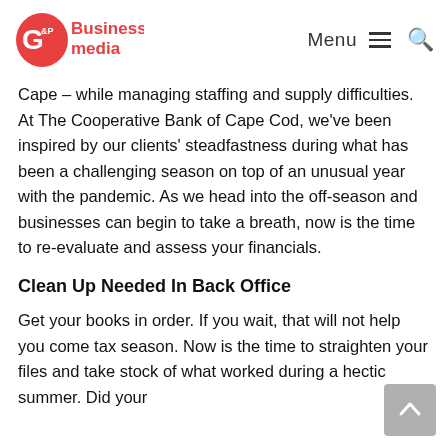G&P Business media | Menu [hamburger] [search]
Cape – while managing staffing and supply difficulties. At The Cooperative Bank of Cape Cod, we've been inspired by our clients' steadfastness during what has been a challenging season on top of an unusual year with the pandemic. As we head into the off-season and businesses can begin to take a breath, now is the time to re-evaluate and assess your financials.
Clean Up Needed In Back Office
Get your books in order. If you wait, that will not help you come tax season. Now is the time to straighten your files and take stock of what worked during a hectic summer. Did your